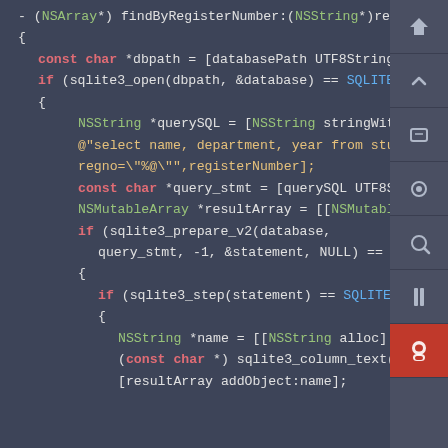[Figure (screenshot): Code editor screenshot showing Objective-C method findByRegisterNumber with SQLite database query code on dark background, with sidebar navigation icons on the right.]